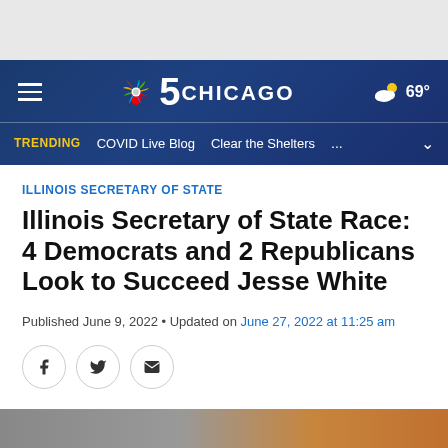[Figure (screenshot): NBC 5 Chicago website header with navy blue navigation bar showing hamburger menu, NBC peacock logo with '5 CHICAGO' text, partly cloudy weather icon showing 69°, and trending bar with items: COVID Live Blog, Clear the Shelters]
≡  🦚5 CHICAGO  ☁ 69°
TRENDING  COVID Live Blog  Clear the Shelters  ...  ∨
ILLINOIS SECRETARY OF STATE
Illinois Secretary of State Race: 4 Democrats and 2 Republicans Look to Succeed Jesse White
Published June 9, 2022 • Updated on June 27, 2022 at 11:25 am
[Figure (screenshot): Social sharing buttons: Facebook (f), Twitter (bird), Email (envelope) — circular outlined icons]